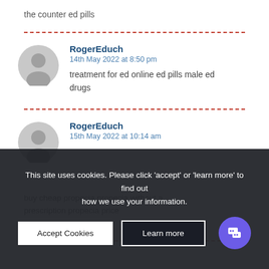the counter ed pills
RogerEduch
14th May 2022 at 8:50 pm
treatment for ed online ed pills male ed drugs
RogerEduch
15th May 2022 at 10:14 am
buy cheap propecia propecia without a prescription propecia price
This site uses cookies. Please click 'accept' or 'learn more' to find out how we use your information.